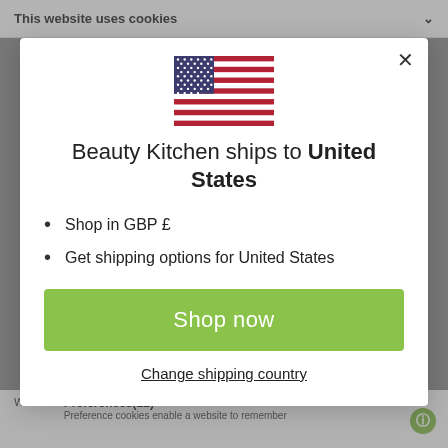This website uses cookies
[Figure (illustration): US flag icon]
Beauty Kitchen ships to United States
Shop in GBP £
Get shipping options for United States
Shop now
Change shipping country
Was th
Preferences(12)
Preference cookies enable a website to remember